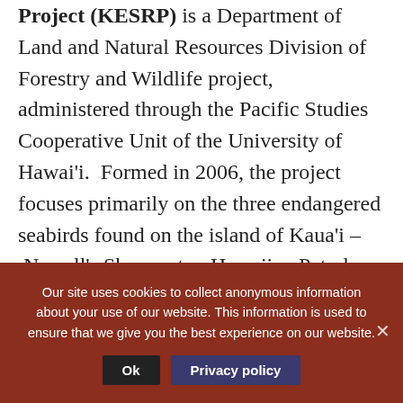Project (KESRP) is a Department of Land and Natural Resources Division of Forestry and Wildlife project, administered through the Pacific Studies Cooperative Unit of the University of Hawai'i. Formed in 2006, the project focuses primarily on the three endangered seabirds found on the island of Kaua'i – Newell's Shearwater, Hawaiian Petrel and Band-rumped Storm-petrel. KESRP's work involves identifying the breeding distribution of
Our site uses cookies to collect anonymous information about your use of our website. This information is used to ensure that we give you the best experience on our website.